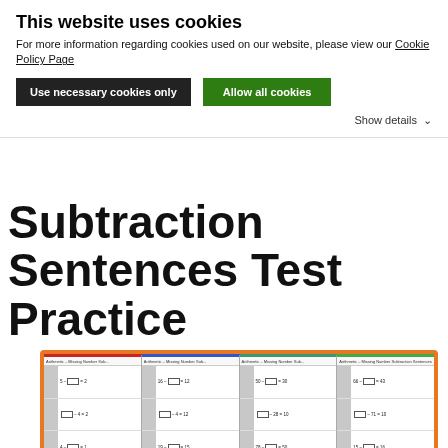This website uses cookies
For more information regarding cookies used on our website, please view our Cookie Policy Page
Use necessary cookies only
Allow all cookies
Show details
Subtraction Sentences Test Practice
[Figure (illustration): Preview thumbnails of four worksheet pages showing Missing Number Subtraction Sentences exercises, displayed side by side inside an orange border. Each worksheet column has a colored top border (red, blue, teal, green). Each worksheet shows math problems with blank boxes in subtraction equations.]